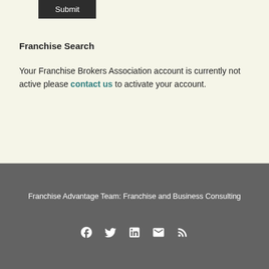Submit
Franchise Search
Your Franchise Brokers Association account is currently not active please contact us to activate your account.
Franchise Advantage Team: Franchise and Business Consulting
[Figure (infographic): Social media icons: Facebook, Twitter, LinkedIn, Email, RSS feed]